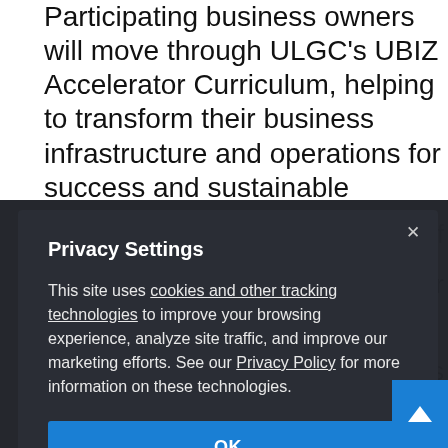Participating business owners will move through ULGC's UBIZ Accelerator Curriculum, helping to transform their business infrastructure and operations for success and sustainable growth. Upon completion, the program will offer s of the, Additionally, eliminating a tal or nities h y y e ng
Privacy Settings

This site uses cookies and other tracking technologies to improve your browsing experience, analyze site traffic, and improve our marketing efforts. See our Privacy Policy for more information on these technologies.

OK
CEO's mission, and we're encouraged by the